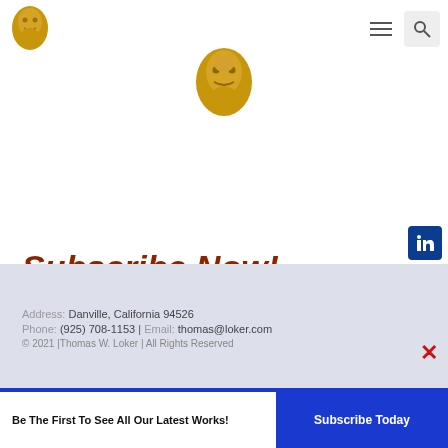[Figure (logo): Gold theatrical mask logo in header top-left]
[Figure (illustration): Gold theatrical face mask centered near top]
Subscribe Now!
[Figure (logo): Thomas W. Loker author logo with golden text]
Address: Danville, California 94526
Phone: (925) 708-1153 | Email: thomas@loker.com
© 2021 |Thomas W. Loker | All Rights Reserved
Be The First To See All Our Latest Works!
Subscribe Today